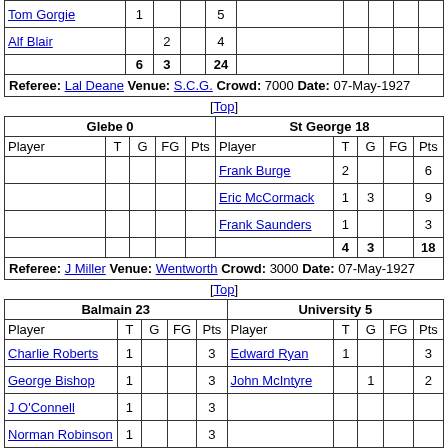| Player | T | G | FG | Pts | Player | T | G | FG | Pts |
| --- | --- | --- | --- | --- | --- | --- | --- | --- | --- |
| Tom Gorgie | 1 |  |  | 5 |  |  |  |  |  |
| Alf Blair |  | 2 |  | 4 |  |  |  |  |  |
|  | 6 | 3 |  | 24 |  |  |  |  |  |
| Referee: Lal Deane Venue: S.C.G. Crowd: 7000 Date: 07-May-1927 |  |  |  |  |  |  |  |  |  |
[Top]
| Glebe 0 |  |  |  |  | St George 18 |  |  |  |  |
| --- | --- | --- | --- | --- | --- | --- | --- | --- | --- |
| Player | T | G | FG | Pts | Player | T | G | FG | Pts |
|  |  |  |  |  | Frank Burge | 2 |  |  | 6 |
|  |  |  |  |  | Eric McCormack | 1 | 3 |  | 9 |
|  |  |  |  |  | Frank Saunders | 1 |  |  | 3 |
|  |  |  |  |  |  | 4 | 3 |  | 18 |
| Referee: J Miller Venue: Wentworth Crowd: 3000 Date: 07-May-1927 |  |  |  |  |  |  |  |  |  |
[Top]
| Balmain 23 |  |  |  |  | University 5 |  |  |  |  |
| --- | --- | --- | --- | --- | --- | --- | --- | --- | --- |
| Player | T | G | FG | Pts | Player | T | G | FG | Pts |
| Charlie Roberts | 1 |  |  | 3 | Edward Ryan | 1 |  |  | 3 |
| George Bishop | 1 |  |  | 3 | John McIntyre |  | 1 |  | 2 |
| J O'Connell | 1 |  |  | 3 |  |  |  |  |  |
| Norman Robinson | 1 |  |  | 3 |  |  |  |  |  |
| R Rue | 1 |  |  | 3 |  |  |  |  |  |
| Anthony McFadden |  | 2 |  | 4 |  |  |  |  |  |
| Bill Maizey |  | 2 |  | 4 |  |  |  |  |  |